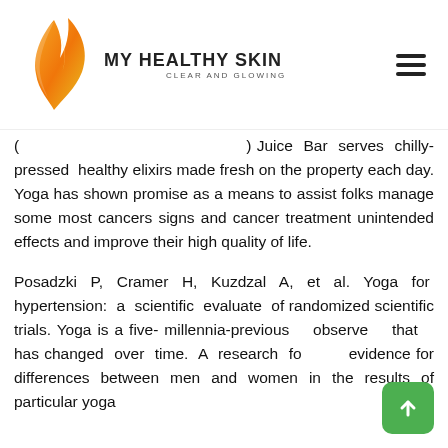MY HEALTHY SKIN CLEAR AND GLOWING
(...) Juice Bar serves chilly-pressed healthy elixirs made fresh on the property each day. Yoga has shown promise as a means to assist folks manage some most cancers signs and cancer treatment unintended effects and improve their high quality of life.
Posadzki P, Cramer H, Kuzdzal A, et al. Yoga for hypertension: a scientific evaluate of randomized scientific trials. Yoga is a five-millennia-previous observe that has changed over time. A research found evidence for differences between men and women in the results of particular yoga